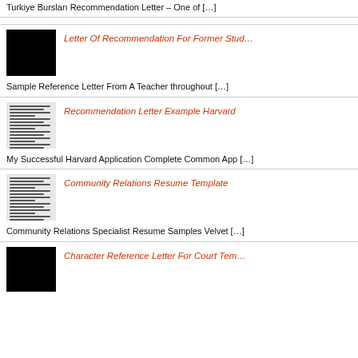Turkiye Bursları Recommendation Letter – One of […]
[Figure (other): Black thumbnail image for Letter Of Recommendation For Former Student]
Letter Of Recommendation For Former Stud…
Sample Reference Letter From A Teacher throughout […]
[Figure (other): Document thumbnail for Recommendation Letter Example Harvard]
Recommendation Letter Example Harvard
My Successful Harvard Application Complete Common App […]
[Figure (other): Document thumbnail for Community Relations Resume Template]
Community Relations Resume Template
Community Relations Specialist Resume Samples Velvet […]
[Figure (other): Black thumbnail image for Character Reference Letter For Court Template]
Character Reference Letter For Court Tem…